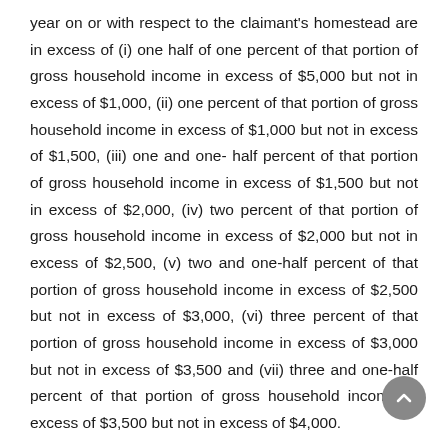year on or with respect to the claimant's homestead are in excess of (i) one half of one percent of that portion of gross household income in excess of $5,000 but not in excess of $1,000, (ii) one percent of that portion of gross household income in excess of $1,000 but not in excess of $1,500, (iii) one and one- half percent of that portion of gross household income in excess of $1,500 but not in excess of $2,000, (iv) two percent of that portion of gross household income in excess of $2,000 but not in excess of $2,500, (v) two and one-half percent of that portion of gross household income in excess of $2,500 but not in excess of $3,000, (vi) three percent of that portion of gross household income in excess of $3,000 but not in excess of $3,500 and (vii) three and one-half percent of that portion of gross household income in excess of $3,500 but not in excess of $4,000.